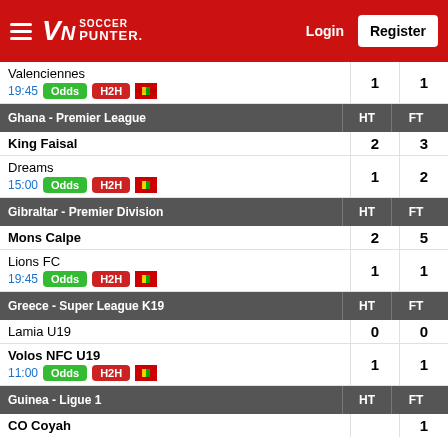Soccer Punter - Login - Register
Valenciennes
19:45 | Odds | H2H | 1 | 1
| Ghana - Premier League | HT | FT |
| --- | --- | --- |
| King Faisal | 2 | 3 |
| Dreams 15:00 Odds H2H | 1 | 2 |
| Gibraltar - Premier Division | HT | FT |
| --- | --- | --- |
| Mons Calpe | 2 | 5 |
| Lions FC 19:45 Odds H2H | 1 | 1 |
| Greece - Super League K19 | HT | FT |
| --- | --- | --- |
| Lamia U19 | 0 | 0 |
| Volos NFC U19 11:00 Odds H2H | 1 | 1 |
| Guinea - Ligue 1 | HT | FT |
| --- | --- | --- |
| CO Coyah |  | 1 |